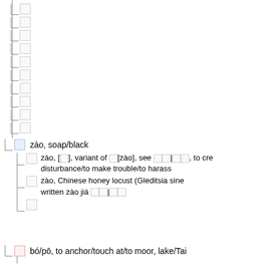□ (tree branch character placeholder)
□
□
□
□
□
□
□
□
□
□ zào, soap/black
□ zào, [□], variant of □[zào], see □□|□□, to create disturbance/to make trouble/to harass
□ zào, Chinese honey locust (Gleditsia sinensis), also written zào jiá □□|□□
□
□ bó/pō, to anchor/touch at/to moor, lake/Tai